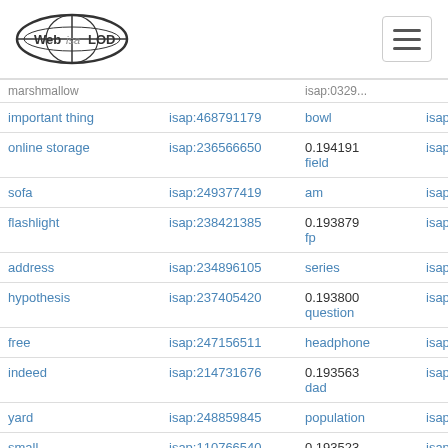Web isa LOD — navigation header
| term | isap id | related term | isap id 2 |
| --- | --- | --- | --- |
| important thing | isap:468791179 | bowl | isap:12940106... |
| online storage | isap:236566650 | 0.194191 field | isap:32306752... |
| sofa | isap:249377419 | am | isap:18743613... |
| flashlight | isap:238421385 | 0.193879 fp | isap:18746800... |
| address | isap:234896105 | series | isap:40662334... |
| hypothesis | isap:237405420 | 0.193800 question | isap:34841822... |
| free | isap:247156511 | headphone | isap:48776142... |
| indeed | isap:214731676 | 0.193563 dad | isap:28070667... |
| yard | isap:248859845 | population | isap:40166831... |
| small compartment | isap:110766540 | 0.193523 soap | isap:12542209... |